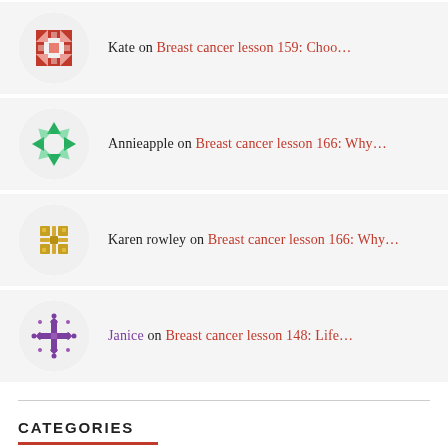Kate on Breast cancer lesson 159: Choo…
Annieapple on Breast cancer lesson 166: Why…
Karen rowley on Breast cancer lesson 166: Why…
Janice on Breast cancer lesson 148: Life…
CATEGORIES
Baking